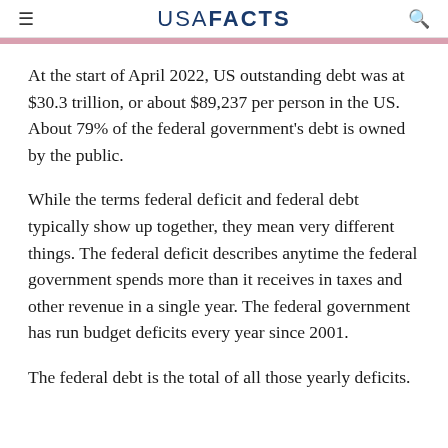USAFacts
At the start of April 2022, US outstanding debt was at $30.3 trillion, or about $89,237 per person in the US. About 79% of the federal government's debt is owned by the public.
While the terms federal deficit and federal debt typically show up together, they mean very different things. The federal deficit describes anytime the federal government spends more than it receives in taxes and other revenue in a single year. The federal government has run budget deficits every year since 2001.
The federal debt is the total of all those yearly deficits.